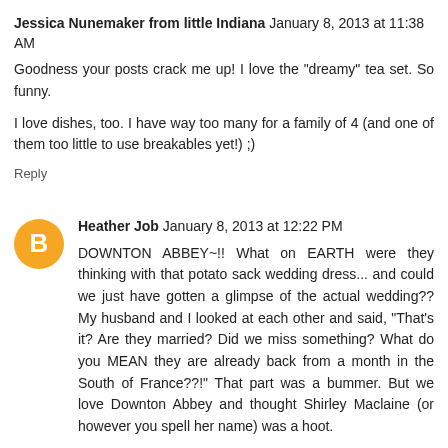Jessica Nunemaker from little Indiana  January 8, 2013 at 11:38 AM

Goodness your posts crack me up! I love the "dreamy" tea set. So funny.

I love dishes, too. I have way too many for a family of 4 (and one of them too little to use breakables yet!) ;)

Reply
[Figure (illustration): Orange circular Blogger avatar icon with white letter B in the center]
Heather Job  January 8, 2013 at 12:22 PM

DOWNTON ABBEY~!! What on EARTH were they thinking with that potato sack wedding dress... and could we just have gotten a glimpse of the actual wedding?? My husband and I looked at each other and said, "That's it? Are they married? Did we miss something? What do you MEAN they are already back from a month in the South of France??!" That part was a bummer. But we love Downton Abbey and thought Shirley Maclaine (or however you spell her name) was a hoot.